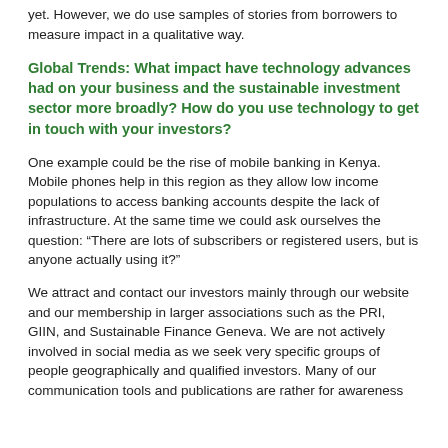yet. However, we do use samples of stories from borrowers to measure impact in a qualitative way.
Global Trends: What impact have technology advances had on your business and the sustainable investment sector more broadly? How do you use technology to get in touch with your investors?
One example could be the rise of mobile banking in Kenya. Mobile phones help in this region as they allow low income populations to access banking accounts despite the lack of infrastructure. At the same time we could ask ourselves the question: “There are lots of subscribers or registered users, but is anyone actually using it?”
We attract and contact our investors mainly through our website and our membership in larger associations such as the PRI, GIIN, and Sustainable Finance Geneva. We are not actively involved in social media as we seek very specific groups of people geographically and qualified investors. Many of our communication tools and publications are rather for awareness